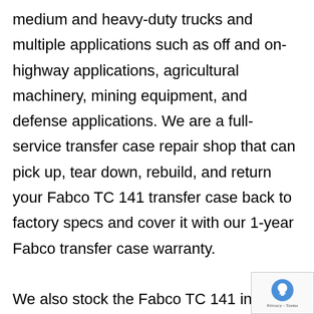medium and heavy-duty trucks and multiple applications such as off and on-highway applications, agricultural machinery, mining equipment, and defense applications. We are a full-service transfer case repair shop that can pick up, tear down, rebuild, and return your Fabco TC 141 transfer case back to factory specs and cover it with our 1-year Fabco transfer case warranty.

We also stock the Fabco TC 141 in every configuration, ready to meet your needs to get you back on the road. Our Fabco and Meritor PTO transfer cases are also ready to ship domestic or internationally. We are an